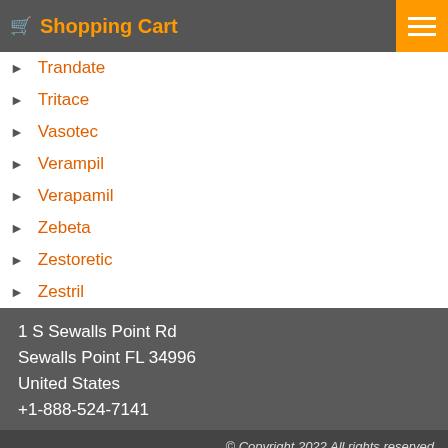Shopping Cart
Trandate
Tritace
Vasotec
Verampil
Verapamil
Zebeta
Zestoretic
Zestril
1 S Sewalls Point Rd
Sewalls Point FL 34996
United States
+1-888-524-7141
© Copyright 2022 All rights reserved